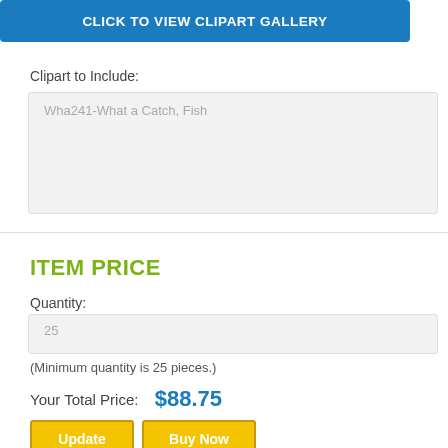[Figure (screenshot): Blue button labeled CLICK TO VIEW CLIPART GALLERY]
Clipart to Include:
Wha241-What a Catch, Fish
ITEM PRICE
Quantity:
25
(Minimum quantity is 25 pieces.)
Your Total Price:  $88.75
Update   Buy Now